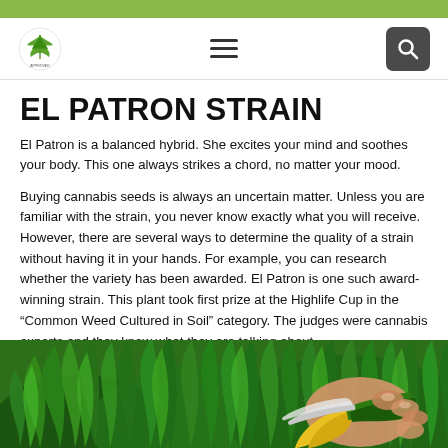Navigation header with logo, hamburger menu, and search button
EL PATRON STRAIN
El Patron is a balanced hybrid. She excites your mind and soothes your body. This one always strikes a chord, no matter your mood.
Buying cannabis seeds is always an uncertain matter. Unless you are familiar with the strain, you never know exactly what you will receive. However, there are several ways to determine the quality of a strain without having it in your hands. For example, you can research whether the variety has been awarded. El Patron is one such award-winning strain. This plant took first prize at the Highlife Cup in the “Common Weed Cultured in Soil” category. The judges were cannabis experts and they know what they are talking about.
[Figure (photo): Close-up photo of cannabis plant leaves being trimmed with yellow and green pruning shears held by a hand]